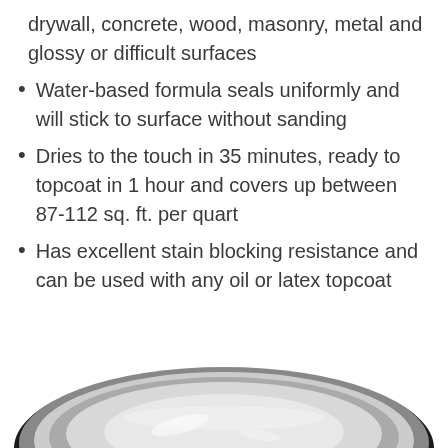drywall, concrete, wood, masonry, metal and glossy or difficult surfaces
Water-based formula seals uniformly and will stick to surface without sanding
Dries to the touch in 35 minutes, ready to topcoat in 1 hour and covers up between 87-112 sq. ft. per quart
Has excellent stain blocking resistance and can be used with any oil or latex topcoat
One coat hide saves time and money by improving hide and coverage of topcoats
[Figure (photo): Top-down view of a paint can lid, showing the metal rim and label]